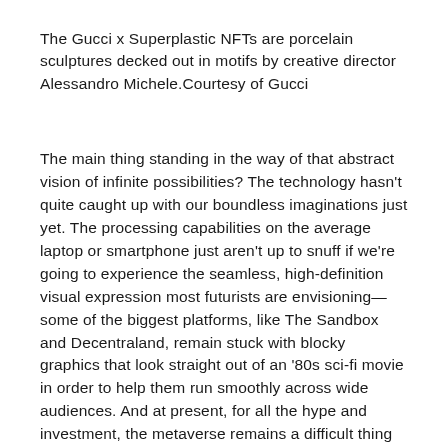The Gucci x Superplastic NFTs are porcelain sculptures decked out in motifs by creative director Alessandro Michele.Courtesy of Gucci
The main thing standing in the way of that abstract vision of infinite possibilities? The technology hasn't quite caught up with our boundless imaginations just yet. The processing capabilities on the average laptop or smartphone just aren't up to snuff if we're going to experience the seamless, high-definition visual expression most futurists are envisioning—some of the biggest platforms, like The Sandbox and Decentraland, remain stuck with blocky graphics that look straight out of an '80s sci-fi movie in order to help them run smoothly across wide audiences. And at present, for all the hype and investment, the metaverse remains a difficult thing for most people to engage with. It's currently a loose assembly of arenas—centralized gaming platforms